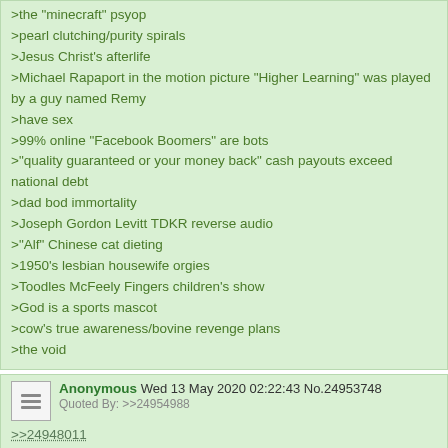>the "minecraft" psyop
>pearl clutching/purity spirals
>Jesus Christ's afterlife
>Michael Rapaport in the motion picture "Higher Learning" was played by a guy named Remy
>have sex
>99% online "Facebook Boomers" are bots
>"quality guaranteed or your money back" cash payouts exceed national debt
>dad bod immortality
>Joseph Gordon Levitt TDKR reverse audio
>"Alf" Chinese cat dieting
>1950's lesbian housewife orgies
>Toodles McFeely Fingers children's show
>God is a sports mascot
>cow's true awareness/bovine revenge plans
>the void
Anonymous Wed 13 May 2020 02:22:43 No.24953748
Quoted By: >>24954988
>>24948011
What are the Twitch hidden livestreams?
Anonymous Wed 13 May 2020 02:27:44 No.24953778
>>24948268